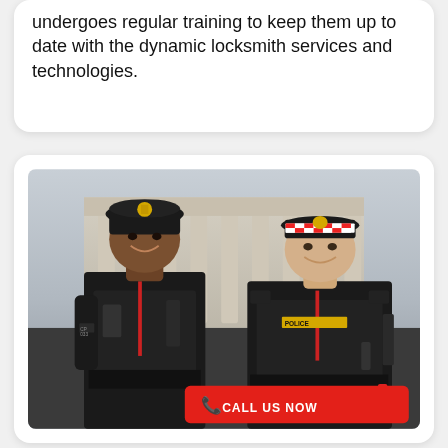undergoes regular training to keep them up to date with the dynamic locksmith services and technologies.
[Figure (photo): Two smiling police officers in black uniforms standing in front of a classical building with columns. The male officer on the left wears a traditional British custodian helmet; the female officer on the right wears a checkered police cap. Both wear tactical vests with equipment. A red 'CALL US NOW' button overlays the bottom right of the image.]